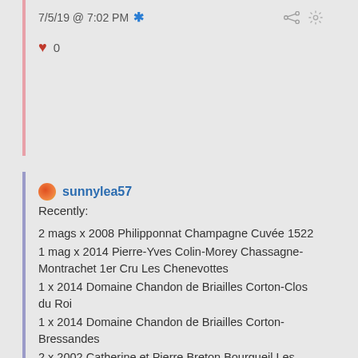7/5/19 @ 7:02 PM ✱
❤ 0
sunnylea57
Recently:
2 mags x 2008 Philipponnat Champagne Cuvée 1522
1 mag x 2014 Pierre-Yves Colin-Morey Chassagne-Montrachet 1er Cru Les Chenevottes
1 x 2014 Domaine Chandon de Briailles Corton-Clos du Roi
1 x 2014 Domaine Chandon de Briailles Corton-Bressandes
2 x 2002 Catherine et Pierre Breton Bourgueil Les Perrières